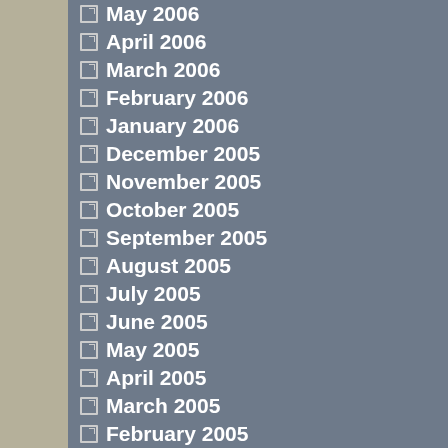May 2006
April 2006
March 2006
February 2006
January 2006
December 2005
November 2005
October 2005
September 2005
August 2005
July 2005
June 2005
May 2005
April 2005
March 2005
February 2005
January 2005
December 2004
November 2004
October 2004
September 2004
August 2004
July 2004
June 2004
May 2004
April 2004
March 2004
February 2004